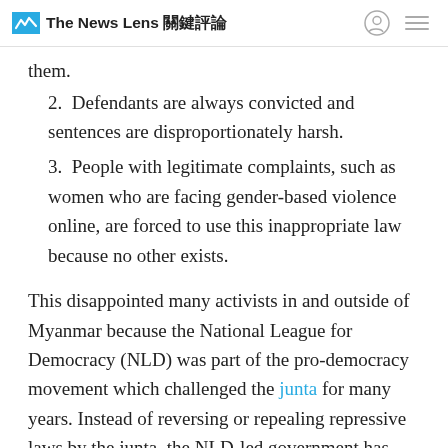The News Lens 關鍵評論
them.
2.  Defendants are always convicted and sentences are disproportionately harsh.
3.  People with legitimate complaints, such as women who are facing gender-based violence online, are forced to use this inappropriate law because no other exists.
This disappointed many activists in and outside of Myanmar because the National League for Democracy (NLD) was part of the pro-democracy movement which challenged the junta for many years. Instead of reversing or repealing repressive laws by the junta, the NLD-led government has allowed military officials, politicians, and other